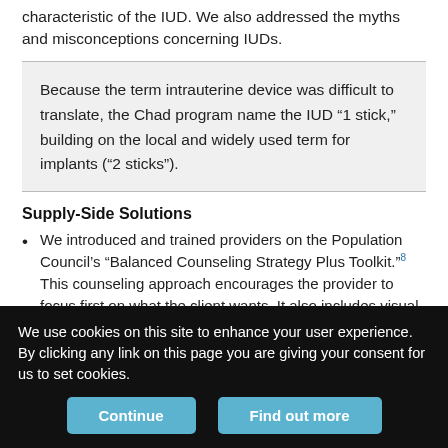characteristic of the IUD. We also addressed the myths and misconceptions concerning IUDs.
Because the term intrauterine device was difficult to translate, the Chad program name the IUD “1 stick,” building on the local and widely used term for implants (“2 sticks”).
Supply-Side Solutions
We introduced and trained providers on the Population Council’s “Balanced Counseling Strategy Plus Toolkit.”⁸ This counseling approach encourages the provider to focus first on what the client wants. It also includes visual job aids—small laminated cards that have pictures of each method on the front for the client and
We use cookies on this site to enhance your user experience. By clicking any link on this page you are giving your consent for us to set cookies.